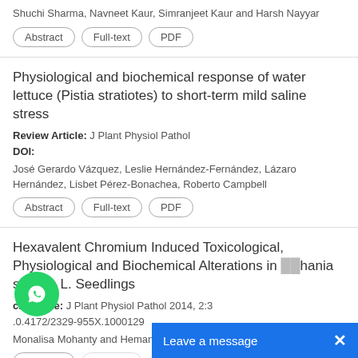Shuchi Sharma, Navneet Kaur, Simranjeet Kaur and Harsh Nayyar
Abstract | Full-text | PDF
Physiological and biochemical response of water lettuce (Pistia stratiotes) to short-term mild saline stress
Review Article: J Plant Physiol Pathol
DOI:
José Gerardo Vázquez, Leslie Hernández-Fernández, Lázaro Hernández, Lisbet Pérez-Bonachea, Roberto Campbell
Abstract | Full-text | PDF
Hexavalent Chromium Induced Toxicological, Physiological and Biochemical Alterations in Sesbania sesban L. Seedlings
Research Article: J Plant Physiol Pathol 2014, 2:3
DOI: 10.4172/2329-955X.1000129
Monalisa Mohanty and Hemanta K...